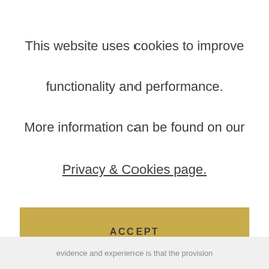This website uses cookies to improve functionality and performance. More information can be found on our Privacy & Cookies page.
ACCEPT
evidence and experience is that the provision